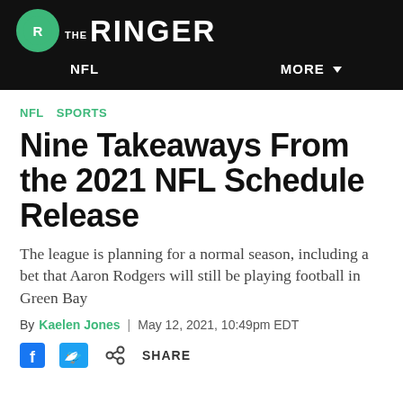THE RINGER — NFL  MORE
NFL  SPORTS
Nine Takeaways From the 2021 NFL Schedule Release
The league is planning for a normal season, including a bet that Aaron Rodgers will still be playing football in Green Bay
By Kaelen Jones | May 12, 2021, 10:49pm EDT
SHARE